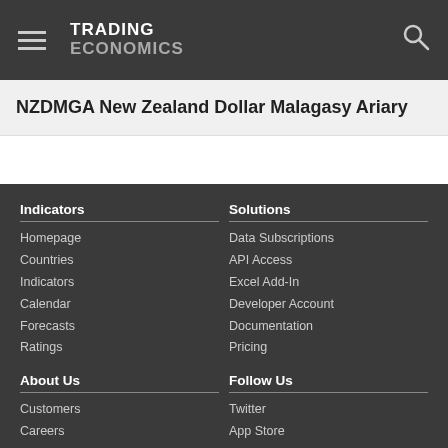TRADING ECONOMICS
NZDMGA New Zealand Dollar Malagasy Ariary
Indicators
Homepage
Countries
Indicators
Calendar
Forecasts
Ratings
Solutions
Data Subscriptions
API Access
Excel Add-In
Developer Account
Documentation
Pricing
About Us
Customers
Careers
Investors
Advertisers
About us
Follow Us
Twitter
App Store
RSS
GitHub
Privacy